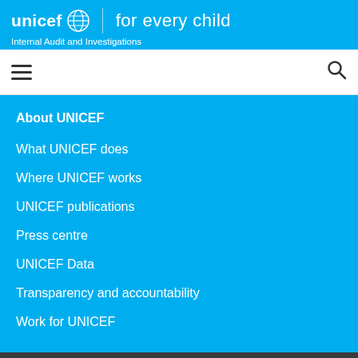unicef for every child | Internal Audit and Investigations
[Figure (screenshot): UNICEF navigation bar with hamburger menu icon on the left and search icon on the right]
About UNICEF
What UNICEF does
Where UNICEF works
UNICEF publications
Press centre
UNICEF Data
Transparency and accountability
Work for UNICEF
We use cookies and other identifiers to help improve your online experience. By using our website you agree to this. To learn more, including how to change your settings, see our cookies policy.